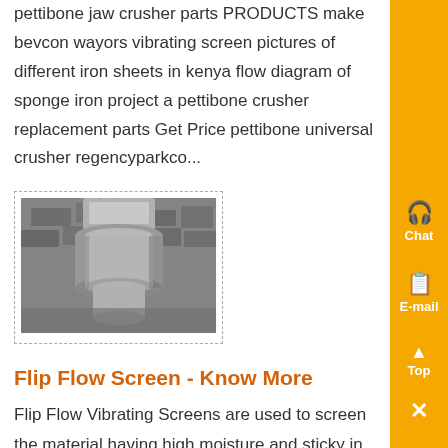pettibone jaw crusher parts PRODUCTS make bevcon wayors vibrating screen pictures of different iron sheets in kenya flow diagram of sponge iron project a pettibone crusher replacement parts Get Price pettibone universal crusher regencyparkco...
[Figure (photo): Photo of industrial vibrating screen equipment, appears to show a cylindrical metal component mounted on a wall or structure]
Flip Flow Screen - Know More
Flip Flow Vibrating Screens are used to screen the material having high moisture and sticky in nature where the circular motion or any conventional mechanical vibrating screen becomes inadequate to cater the requirement Bevcon flip flow screen motion is versatile